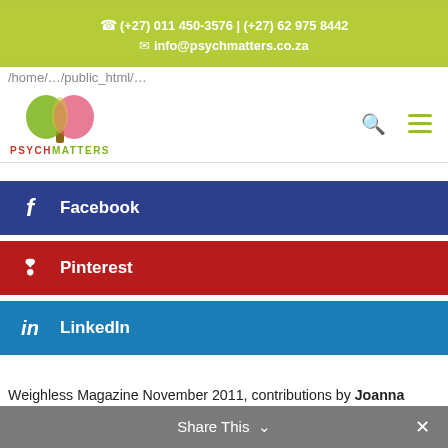(+27) 011 450-3576 | (+27) 62 975 8442
info@psychmatters.co.za
/home/…/public_html/…
[Figure (logo): PsychMatters logo with colorful tree and text PSYCHMATTERS]
Facebook
Pinterest
LinkedIn
Weighless Magazine November 2011, contributions by Joanna Kleovoulou, Clinical Psychologist and Director of PsychMatters Family Centre
Share This